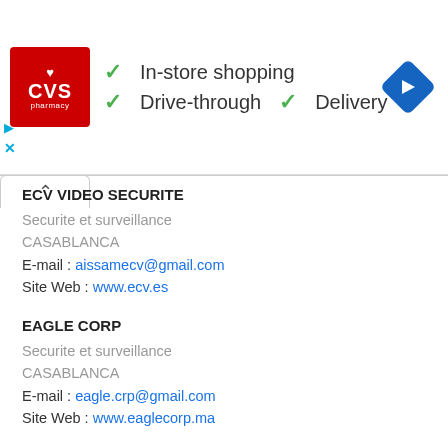[Figure (other): CVS Pharmacy advertisement banner with logo, checkmarks for In-store shopping, Drive-through, Delivery services, and a blue navigation arrow icon]
ECV VIDEO SECURITE
Securite et surveillance
CASABLANCA
E-mail : aissamecv@gmail.com
Site Web : www.ecv.es
EAGLE CORP
Securite et surveillance
CASABLANCA
E-mail : eagle.crp@gmail.com
Site Web : www.eaglecorp.ma
DIGITAL FOCUS
Securite et surveillance